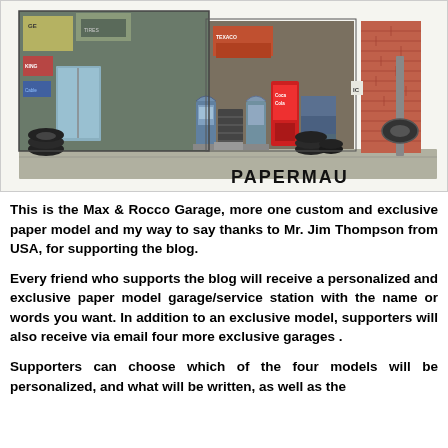[Figure (illustration): A paper model diorama of a retro garage/service station called Max & Rocco Garage, showing building facades with signs, gas pumps, tire stacks, vending machines, and a brick wall. The PAPERMAU watermark appears in the bottom right corner.]
This is the Max & Rocco Garage, more one custom and exclusive paper model and my way to say thanks to Mr. Jim Thompson from USA, for supporting the blog.
Every friend who supports the blog will receive a personalized and exclusive paper model garage/service station with the name or words you want. In addition to an exclusive model, supporters will also receive via email four more exclusive garages .
Supporters can choose which of the four models will be personalized, and what will be written, as well as the